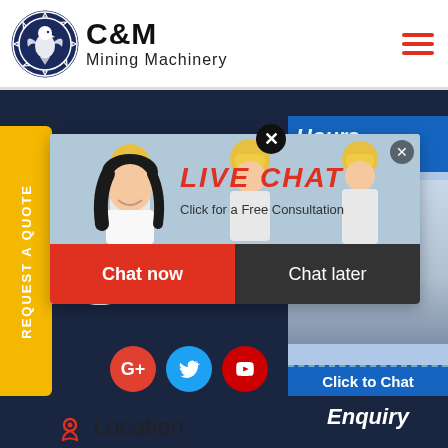[Figure (logo): C&M Mining Machinery logo with eagle/gear emblem in dark blue circle, company name in bold black]
[Figure (screenshot): Website screenshot showing C&M Mining Machinery page with live chat popup, yellow REQUEST A QUOTE side tab, social icons, Location section, headset woman on right panel with Hours Online, Click to Chat, Enquiry sections]